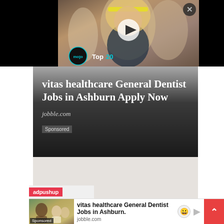[Figure (screenshot): Video thumbnail showing a fitness/dance scene with a blonde woman wearing a yellow headband, with WatchMojo Top 20 branding overlay and a play button. Close button (X) in top right corner.]
[Figure (advertisement): Advertisement banner with gradient background (gray to dark). Title: 'vitas healthcare General Dentist Jobs in Ashburn Apply Now'. URL: jobble.com. Sponsored label at bottom left.]
[Figure (advertisement): Bottom ad strip with adpushup logo, thumbnail image of medical professionals, ad text 'vitas healthcare General Dentist Jobs in Ashburn.' with jobble.com URL, face icon, play icon, and red scroll-to-top button.]